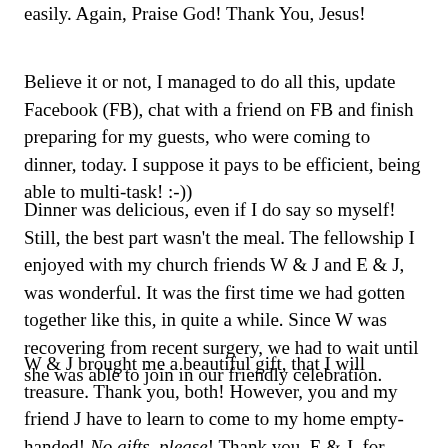easily. Again, Praise God! Thank You, Jesus!
Believe it or not, I managed to do all this, update Facebook (FB), chat with a friend on FB and finish preparing for my guests, who were coming to dinner, today. I suppose it pays to be efficient, being able to multi-task! :-))
Dinner was delicious, even if I do say so myself! Still, the best part wasn't the meal. The fellowship I enjoyed with my church friends W & J and E & J, was wonderful. It was the first time we had gotten together like this, in quite a while. Since W was recovering from recent surgery, we had to wait until she was able to join in our friendly celebration.
W & J brought me a beautiful gift, that I will treasure. Thank you, both! However, you and my friend J have to learn to come to my home empty-handed! No gifts, please! Thank you, E & J, for doing this for me. While some people think it is necessary to bring a host/hostess a gift, I believe that this only applies to non-friend/family situations.
The only let down, is realizing that there was an empty seat